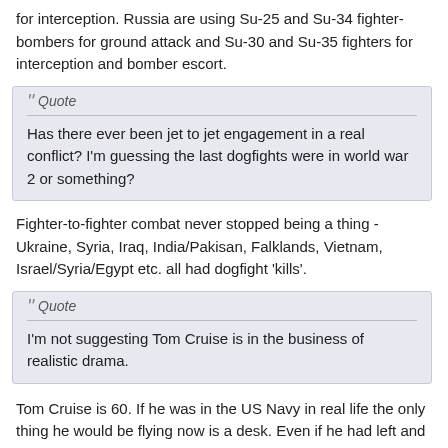for interception. Russia are using Su-25 and Su-34 fighter-bombers for ground attack and Su-30 and Su-35 fighters for interception and bomber escort.
Quote
Has there ever been jet to jet engagement in a real conflict? I'm guessing the last dogfights were in world war 2 or something?
Fighter-to-fighter combat never stopped being a thing - Ukraine, Syria, Iraq, India/Pakisan, Falklands, Vietnam, Israel/Syria/Egypt etc. all had dogfight 'kills'.
Quote
I'm not suggesting Tom Cruise is in the business of realistic drama.
Tom Cruise is 60. If he was in the US Navy in real life the only thing he would be flying now is a desk. Even if he had left and joined an airline he would probably be retired by now.
Also the F/A-18E/F Super Hornets used in the film are not really fighters (the 'F/A' means Fighter/Attack, i.e. they are fighter-bombers). The US Navy's last dedicated fighter type was the F-14D Tomcat (as featured in the original film), which ware retired